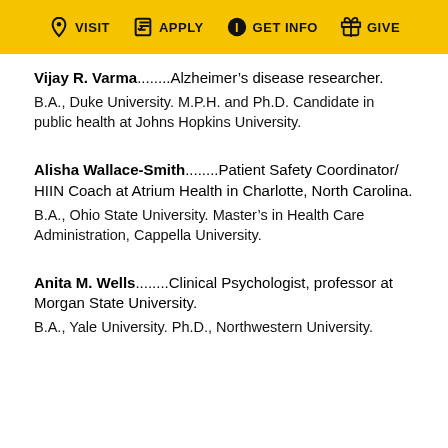VISIT  APPLY  GET INFO  GIVE
Vijay R. Varma.......Alzheimer's disease researcher.

B.A., Duke University. M.P.H. and Ph.D. Candidate in public health at Johns Hopkins University.
Alisha Wallace-Smith.......Patient Safety Coordinator/HIIN Coach at Atrium Health in Charlotte, North Carolina.

B.A., Ohio State University. Master's in Health Care Administration, Cappella University.
Anita M. Wells.......Clinical Psychologist, professor at Morgan State University.

B.A., Yale University. Ph.D., Northwestern University.